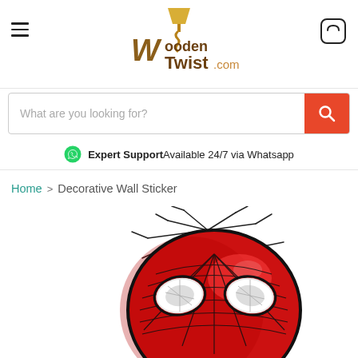WoodenTwist.com — navigation header with hamburger menu, logo, and cart icon
[Figure (screenshot): Search bar with placeholder 'What are you looking for?' and a red search button with magnifying glass icon]
Expert Support Available 24/7 via Whatsapp
Home > Decorative Wall Sticker
[Figure (photo): Spiderman head 3D wall sticker/light emerging from cracked wall, red and black color scheme]